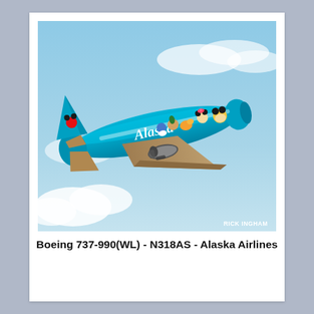[Figure (photo): Alaska Airlines Boeing 737-990(WL) with Disney character livery (Mickey Mouse, Minnie Mouse, Pluto, Goofy, Donald Duck) in flight against a blue sky with clouds. Photo credit: RICK INGHAM printed in bottom-right corner.]
Boeing 737-990(WL) - N318AS - Alaska Airlines